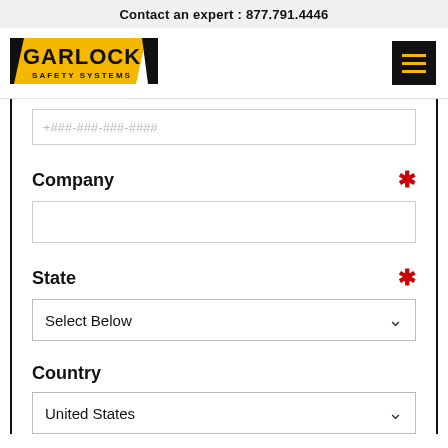Contact an expert : 877.791.4446
[Figure (logo): Garlock Safety Systems logo — black and yellow diagonal parallelogram design with GARLOCK text in bold black and SAFETY SYSTEMS below]
+###-###-###-####
Company *
State *
Select Below
Country
United States